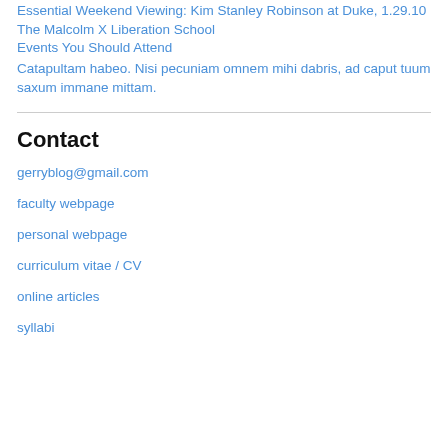Essential Weekend Viewing: Kim Stanley Robinson at Duke, 1.29.10
The Malcolm X Liberation School
Events You Should Attend
Catapultam habeo. Nisi pecuniam omnem mihi dabris, ad caput tuum saxum immane mittam.
Contact
gerryblog@gmail.com
faculty webpage
personal webpage
curriculum vitae / CV
online articles
syllabi